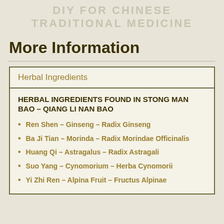DIY FOR CHINESE TRADITIONAL MEDICINE
More Information
| Herbal Ingredients |
| --- |
| HERBAL INGREDIENTS FOUND IN STONG MAN BAO – QIANG LI NAN BAO |
| Ren Shen – Ginseng – Radix Ginseng |
| Ba Ji Tian – Morinda – Radix Morindae Officinalis |
| Huang Qi – Astragalus – Radix Astragali |
| Suo Yang – Cynomorium – Herba Cynomorii |
| Yi Zhi Ren – Alpina Fruit – Fructus Alpinae |